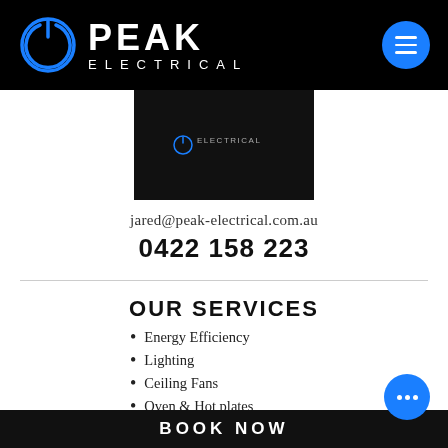[Figure (logo): Peak Electrical logo: power button icon in blue on black background, with PEAK ELECTRICAL text in white]
[Figure (screenshot): Dark screenshot showing Peak Electrical logo/branding on black background]
jared@peak-electrical.com.au
0422 158 223
OUR SERVICES
Energy Efficiency
Lighting
Ceiling Fans
Oven & Hot plates
Switchboards
Commercial
BOOK NOW